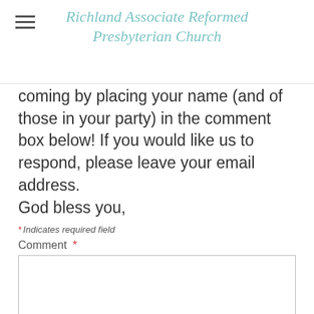Richland Associate Reformed Presbyterian Church
coming by placing your name (and of those in your party) in the comment box below! If you would like us to respond, please leave your email address.
God bless you,
* Indicates required field
Comment *
[Figure (other): Empty comment text box with resize handle in bottom-right corner]